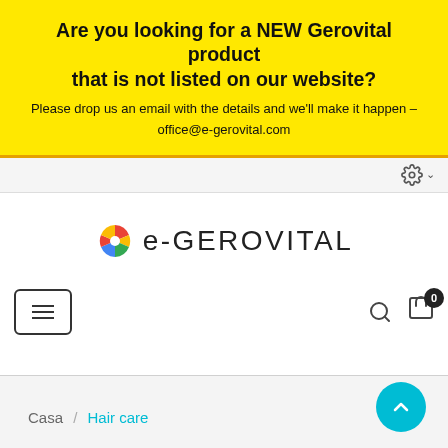Are you looking for a NEW Gerovital product that is not listed on our website?
Please drop us an email with the details and we'll make it happen – office@e-gerovital.com
[Figure (logo): e-GEROVITAL logo with colorful pinwheel icon and text 'e-GEROVITAL']
Casa / Hair care